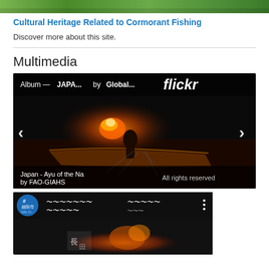[Figure (photo): Aerial or landscape photo strip at top of page, showing green terrain]
Cultural Heritage Related to Cormorant Fishing
Discover more about this site.
Multimedia
[Figure (screenshot): Flickr photo widget showing a night scene of traditional Japanese cormorant fishing with a man on a wooden boat holding fire, with navigation arrows, album label 'Album — JAPA... by Global...' and caption 'Japan - Ayu of the Na by FAO-GIAHS, All rights reserved']
[Figure (screenshot): YouTube video widget showing a night cormorant fishing scene with Gifu City logo and Japanese text in the top bar]